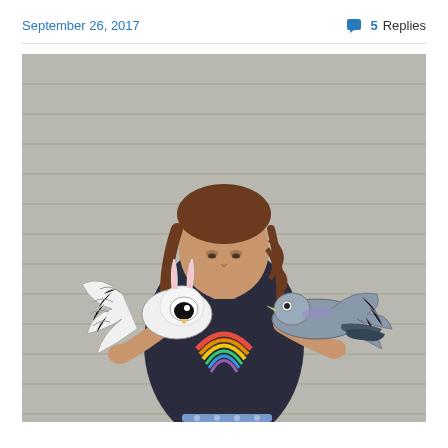September 26, 2017
💬 5 Replies
[Figure (photo): A young girl with curly brown hair, wearing a dark t-shirt with a rainbow graphic, holds two large handmade paper bird/creature craft projects with wings outstretched, standing against a light gray siding wall.]